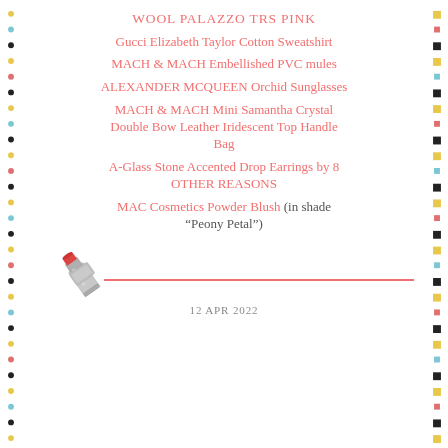WOOL PALAZZO TRS PINK
Gucci Elizabeth Taylor Cotton Sweatshirt
MACH & MACH Embellished PVC mules
ALEXANDER MCQUEEN Orchid Sunglasses
MACH & MACH Mini Samantha Crystal Double Bow Leather Iridescent Top Handle Bag
A-Glass Stone Accented Drop Earrings by 8 OTHER REASONS
MAC Cosmetics Powder Blush (in shade “Peony Petal”)
[Figure (illustration): A silver lipstick/makeup product with a pink horizontal line extending to the right]
12 APR 2022